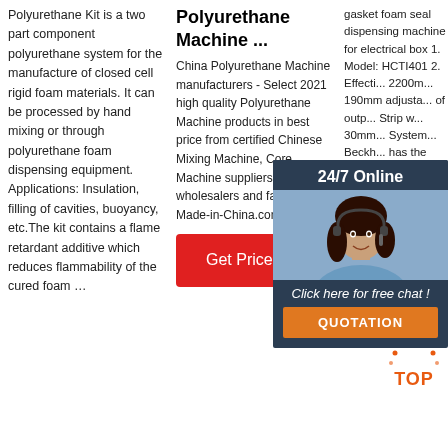Polyurethane Kit is a two part component polyurethane system for the manufacture of closed cell rigid foam materials. It can be processed by hand mixing or through polyurethane foam dispensing equipment. Applications: Insulation, filling of cavities, buoyancy, etc.The kit contains a flame retardant additive which reduces flammability of the cured foam …
Polyurethane Machine ...
China Polyurethane Machine manufacturers - Select 2021 high quality Polyurethane Machine products in best price from certified Chinese Mixing Machine, Core Machine suppliers, wholesalers and factory on Made-in-China.com
[Figure (other): Get Price button - red rectangle with white text]
gasket foam seal dispensing machine for electrical box 1. Model: HCTI401 2. Effective ... 2200mm 190mm adjustable of output ... Strip width 30mm ... System ... Beckh... has the functions of remote monitoring and service) 6. Process: FIPFG 7. Cleaning Method: Water
[Figure (other): 24/7 Online chat widget with woman photo, orange QUOTATION button]
[Figure (other): TOP scroll-to-top button with orange dots and text]